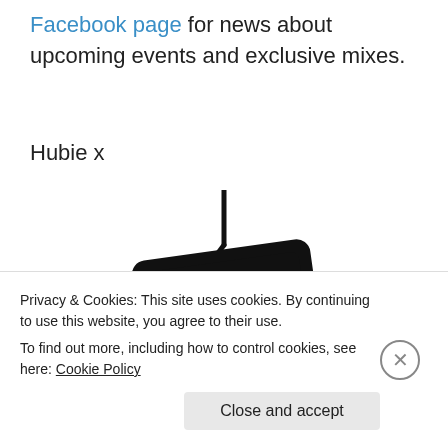Facebook page for news about upcoming events and exclusive mixes.
Hubie x
[Figure (logo): NSB Radio logo — a stylized black radio with antenna and bold white text reading 'NSB RADIO']
Privacy & Cookies: This site uses cookies. By continuing to use this website, you agree to their use.
To find out more, including how to control cookies, see here: Cookie Policy